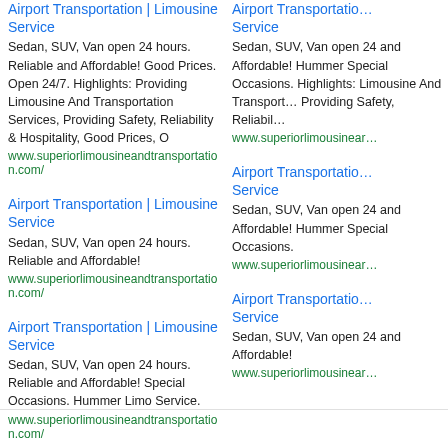Airport Transportation | Limousine Service
Sedan, SUV, Van open 24 hours. Reliable and Affordable! Good Prices. Open 24/7. Highlights: Providing Limousine And Transportation Services, Providing Safety, Reliability & Hospitality, Good Prices, O
www.superiorlimousineandtransportation.com/
Airport Transportation | Limousine Service
Sedan, SUV, Van open 24 hours. Reliable and Affordable! Hummer Special Occasions. Highlights: Limousine And Transport... Providing Safety, Reliabil...
www.superiorlimousinear...
Airport Transportation | Limousine Service
Sedan, SUV, Van open 24 hours. Reliable and Affordable!
www.superiorlimousineandtransportation.com/
Airport Transportation | Limousine Service
Sedan, SUV, Van open 24 hours. Reliable and Affordable! Hummer Special Occasions.
www.superiorlimousinear...
Airport Transportation | Limousine Service
Sedan, SUV, Van open 24 hours. Reliable and Affordable! Special Occasions. Hummer Limo Service.
www.superiorlimousineandtransportation.com/
Airport Transportation | Limousine Service
Sedan, SUV, Van open 24 hours. Reliable and Affordable!
www.superiorlimousinear...